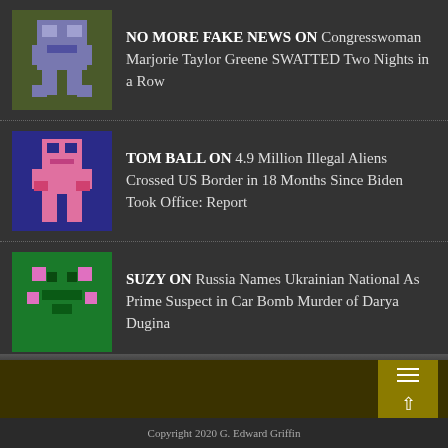NO MORE FAKE NEWS ON Congresswoman Marjorie Taylor Greene SWATTED Two Nights in a Row
TOM BALL ON 4.9 Million Illegal Aliens Crossed US Border in 18 Months Since Biden Took Office: Report
SUZY ON Russia Names Ukrainian National As Prime Suspect in Car Bomb Murder of Darya Dugina
MREAMER ON Joe Biden's Program to Cancel Student Loan Debt Up to $10K, Pell Grants Up to $20K
Copyright 2020 G. Edward Griffin